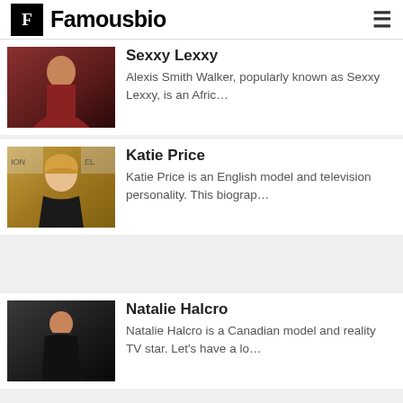F Famousbio
Sexxy Lexxy
Alexis Smith Walker, popularly known as Sexxy Lexxy, is an Afric…
Katie Price
Katie Price is an English model and television personality. This biograp…
Natalie Halcro
Natalie Halcro is a Canadian model and reality TV star. Let's have a lo…